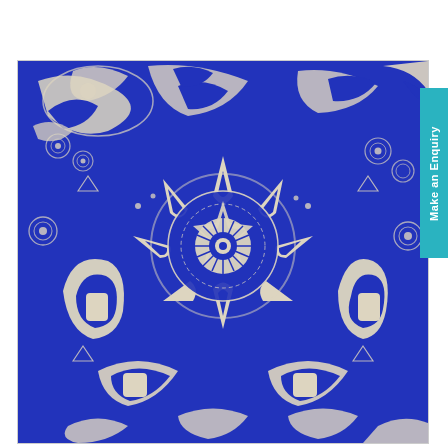[Figure (illustration): Close-up photograph of a blue and cream/beige mandala fabric print. The pattern features intricate floral and geometric mandala designs with swirling paisley elements, roses, and a central starburst motif. The fabric is royal blue with cream-colored cutout style patterns.]
Make an Enquiry